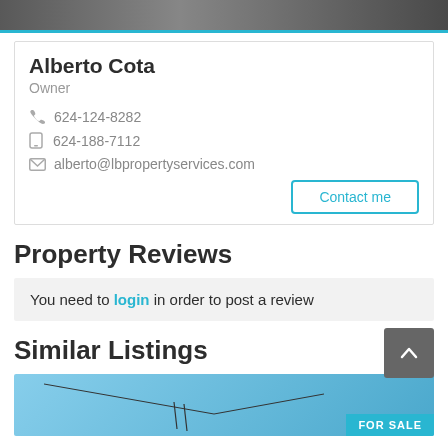[Figure (photo): Top portion of a person's photo (dark clothing), partially cropped]
Alberto Cota
Owner
624-124-8282
624-188-7112
alberto@lbpropertyservices.com
Contact me
Property Reviews
You need to login in order to post a review
Similar Listings
[Figure (photo): Listing photo with blue sky and a FOR SALE badge in the bottom right]